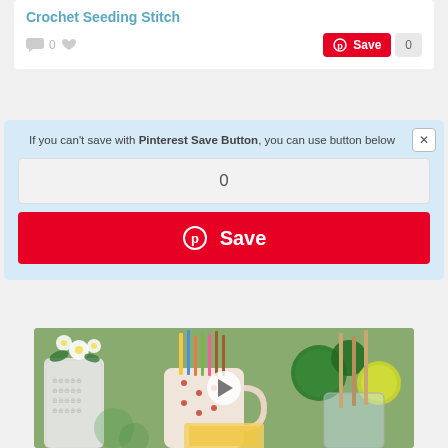Crochet Seeding Stitch
0 [comment icon] [heart icon]
Save 0
If you can't save with Pinterest Save Button, you can use button below
0
Save
[Figure (photo): Photo of craft supplies including white daisy flowers in a crochet-textured mug/vase, pencils and art tools in a red-dotted mug, green and yellow yarn pompoms on sticks in a glass jar, and hands working with a yellow item in the foreground. A play button overlay is visible in the center.]